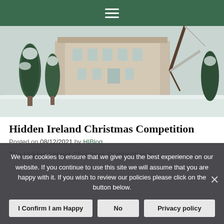Navigation menu (hamburger icon)
[Figure (photo): Winter scene of a large Georgian mansion with snow-covered grounds, evergreen trees and bare branches in foreground]
Hidden Ireland Christmas Competition
Posted on 08/12/2021 by HIBlog
The Hidden Ireland Christmas Competition is
We use cookies to ensure that we give you the best experience on our website. If you continue to use this site we will assume that you are happy with it. If you wish to review our policies please click on the button below.
I Confirm I am Happy | No | Privacy policy